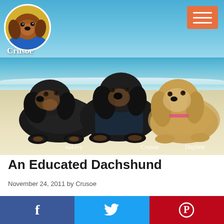[Figure (photo): Three dachshund dogs lying on a sandy beach with ocean and blue sky in background. Left dog is a black-and-tan short-hair labeled 'oakley', center dog is black-and-tan short-hair labeled 'Crusoe', right dog is a golden/cream long-haired dachshund labeled 'Daphne'. A circular logo with a dachshund photo and the name 'Crusoe' is in the top-left. An orange hamburger menu button is in the top-right.]
An Educated Dachshund
November 24, 2011 by Crusoe
[Figure (infographic): Social sharing bar with three buttons: Facebook (blue, 'f' icon), Twitter (light blue, bird icon), Pinterest (red, 'P' circle icon)]